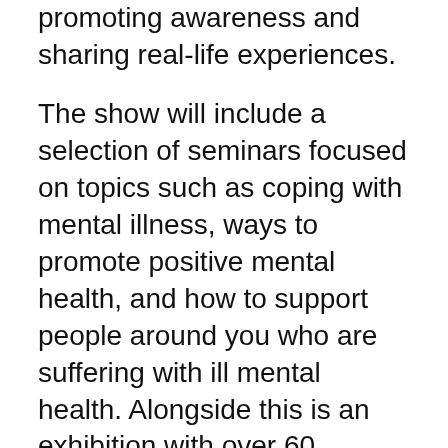promoting awareness and sharing real-life experiences.
The show will include a selection of seminars focused on topics such as coping with mental illness, ways to promote positive mental health, and how to support people around you who are suffering with ill mental health. Alongside this is an exhibition with over 60 charities, organisations and companies promoting their helpful resources, services and initiatives designed to support positive mental health and wellbeing.